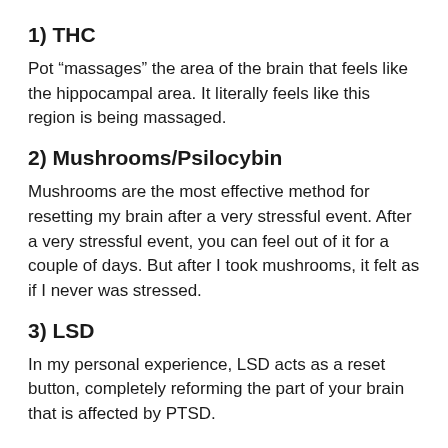1) THC
Pot “massages” the area of the brain that feels like the hippocampal area. It literally feels like this region is being massaged.
2) Mushrooms/Psilocybin
Mushrooms are the most effective method for resetting my brain after a very stressful event. After a very stressful event, you can feel out of it for a couple of days. But after I took mushrooms, it felt as if I never was stressed.
3) LSD
In my personal experience, LSD acts as a reset button, completely reforming the part of your brain that is affected by PTSD.